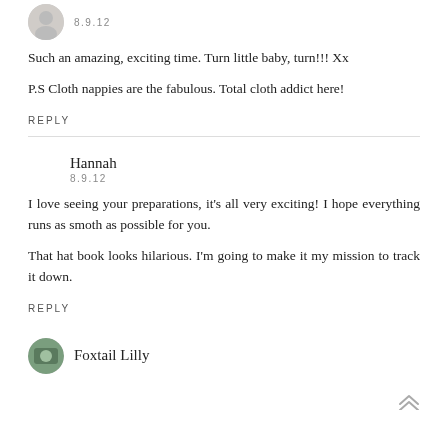8.9.12
Such an amazing, exciting time. Turn little baby, turn!!! Xx
P.S Cloth nappies are the fabulous. Total cloth addict here!
REPLY
Hannah
8.9.12
I love seeing your preparations, it's all very exciting! I hope everything runs as smoth as possible for you.
That hat book looks hilarious. I'm going to make it my mission to track it down.
REPLY
Foxtail Lilly